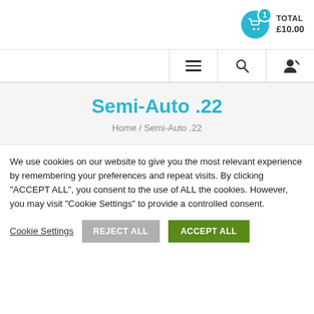TOTAL £10.00
[Figure (screenshot): Navigation bar with hamburger menu, search icon, and user/logout icon]
Semi-Auto .22
Home / Semi-Auto .22
We use cookies on our website to give you the most relevant experience by remembering your preferences and repeat visits. By clicking "ACCEPT ALL", you consent to the use of ALL the cookies. However, you may visit "Cookie Settings" to provide a controlled consent.
Cookie Settings  REJECT ALL  ACCEPT ALL